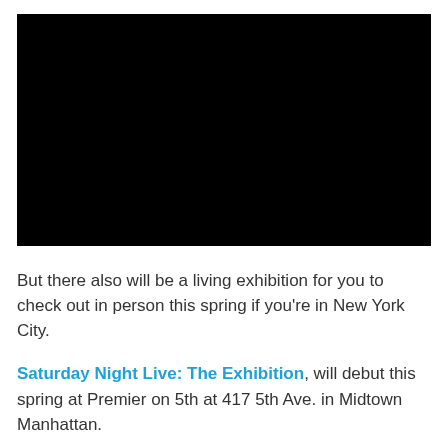[Figure (photo): Black/dark image, possibly a video thumbnail or photo]
But there also will be a living exhibition for you to check out in person this spring if you’re in New York City.
Saturday Night Live: The Exhibition, will debut this spring at Premier on 5th at 417 5th Ave. in Midtown Manhattan.